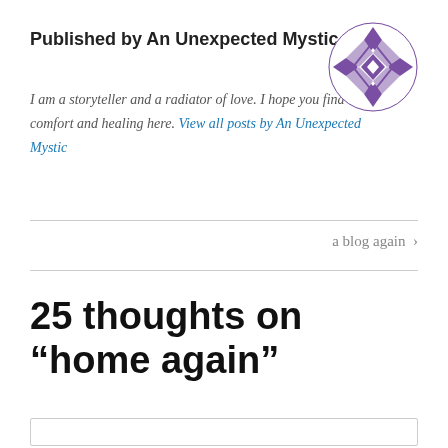Published by An Unexpected Mystic
I am a storyteller and a radiator of love. I hope you find comfort and healing here. View all posts by An Unexpected Mystic
[Figure (illustration): Circular geometric quilt-pattern logo in purple and white with diamond shapes]
a blog again >
25 thoughts on “home again”